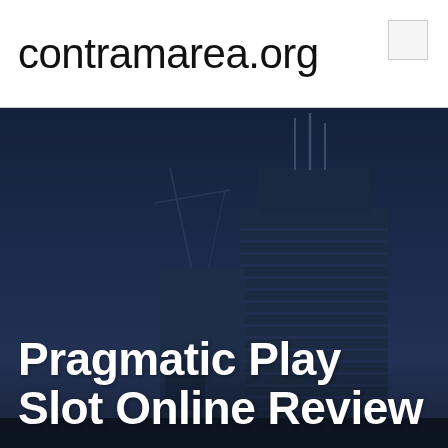contramarea.org
[Figure (photo): Cityscape photograph showing tall modern skyscrapers and a crane against a deep blue dusk sky. The buildings have horizontal striped facades. The image is darkened/moody with a blue tone.]
Pragmatic Play Slot Online Review